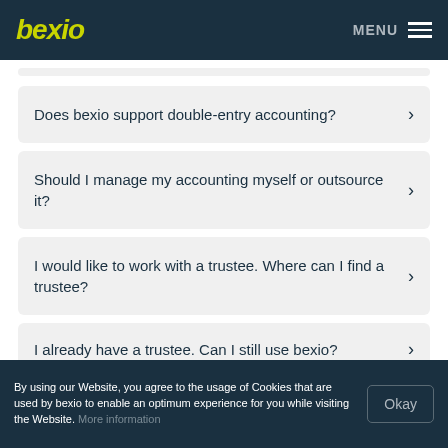bexio  MENU
Does bexio support double-entry accounting?
Should I manage my accounting myself or outsource it?
I would like to work with a trustee. Where can I find a trustee?
I already have a trustee. Can I still use bexio?
By using our Website, you agree to the usage of Cookies that are used by bexio to enable an optimum experience for you while visiting the Website. More information